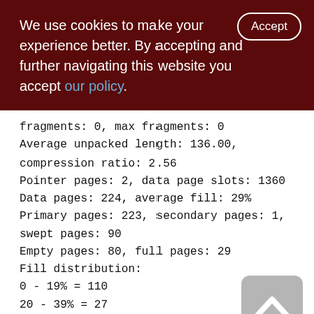We use cookies to make your experience better. By accepting and further navigating this website you accept our policy.
Accept
fragments: 0, max fragments: 0
Average unpacked length: 136.00,
compression ratio: 2.56
Pointer pages: 2, data page slots: 1360
Data pages: 224, average fill: 29%
Primary pages: 223, secondary pages: 1,
swept pages: 90
Empty pages: 80, full pages: 29
Fill distribution:
0 - 19% = 110
20 - 39% = 27
40 - 59% = 42